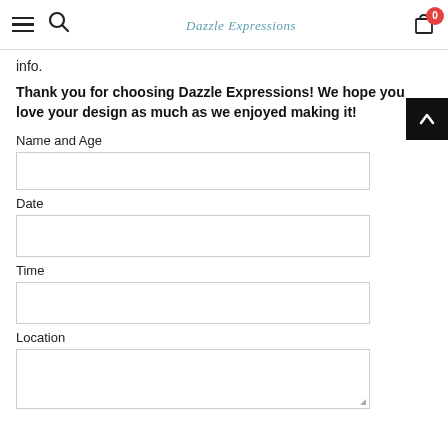Dazzle Expressions header with hamburger menu, search icon, logo, and cart (0)
info.
Thank you for choosing Dazzle Expressions! We hope you love your design as much as we enjoyed making it!
Name and Age
Date
Time
Location